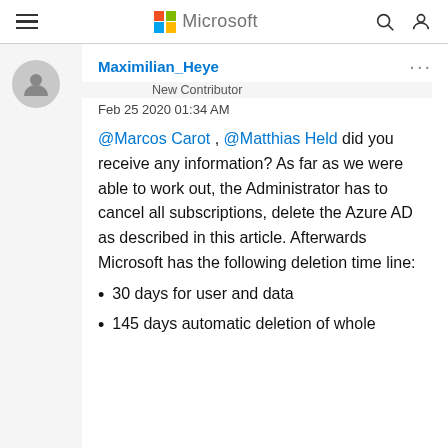Microsoft (navigation bar with hamburger menu, Microsoft logo, search and user icons)
Maximilian_Heye
New Contributor
Feb 25 2020 01:34 AM
@Marcos Carot , @Matthias Held did you receive any information? As far as we were able to work out, the Administrator has to cancel all subscriptions, delete the Azure AD as described in this article. Afterwards Microsoft has the following deletion time line:
30 days for user and data
145 days automatic deletion of whole